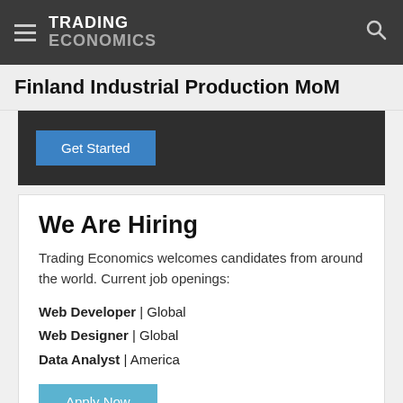TRADING ECONOMICS
Finland Industrial Production MoM
[Figure (other): Dark promotional banner with a blue 'Get Started' button]
We Are Hiring
Trading Economics welcomes candidates from around the world. Current job openings:
Web Developer | Global
Web Designer | Global
Data Analyst | America
[Figure (other): Blue 'Apply Now' button]